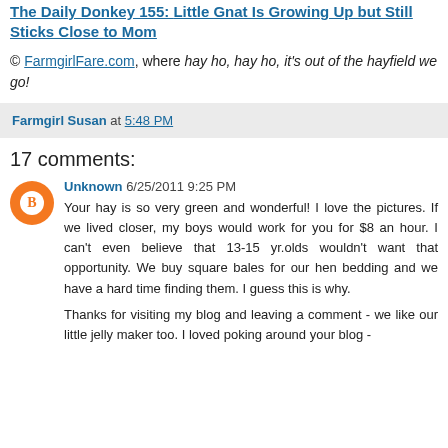The Daily Donkey 155: Little Gnat Is Growing Up but Still Sticks Close to Mom
© FarmgirlFare.com, where hay ho, hay ho, it's out of the hayfield we go!
Farmgirl Susan at 5:48 PM
17 comments:
Unknown 6/25/2011 9:25 PM
Your hay is so very green and wonderful! I love the pictures. If we lived closer, my boys would work for you for $8 an hour. I can't even believe that 13-15 yr.olds wouldn't want that opportunity. We buy square bales for our hen bedding and we have a hard time finding them. I guess this is why.

Thanks for visiting my blog and leaving a comment - we like our little jelly maker too. I loved poking around your blog -